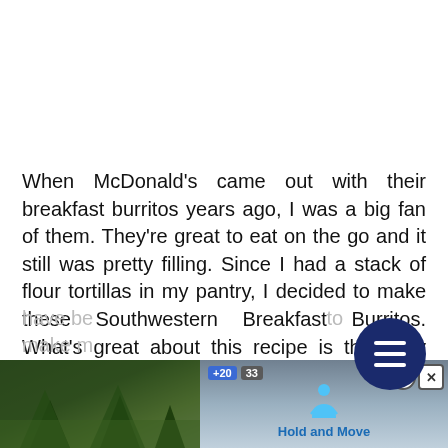When McDonald's came out with their breakfast burritos years ago, I was a big fan of them. They're great to eat on the go and it still was pretty filling. Since I had a stack of flour tortillas in my pantry, I decided to make these Southwestern Breakfast Burritos. What's great about this recipe is that they store well in the freezer and easily heat up either in the oven or microwave. Just as one may assume, the filling is simply crumbled breakfast sausage seasoned with taco seasoning, diced onions and bell peppers, scrambled eggs, and shredded cheese. You can serve these up with your salsa, sour cream and/or even guacamole if you'd like. These have be... to make m...
[Figure (screenshot): Advertisement banner at the bottom showing a mobile game 'Hold and Move' with score indicators (+20, 33), a person icon, tree/nature background, and close button (? X)]